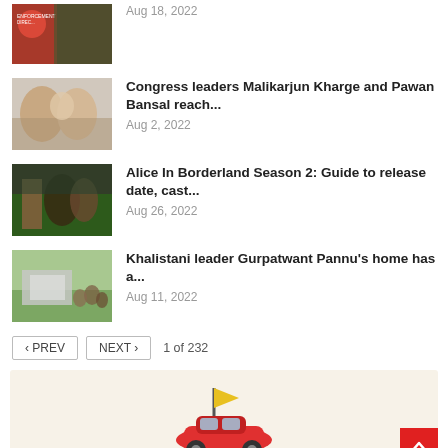Aug 18, 2022
Congress leaders Malikarjun Kharge and Pawan Bansal reach...
Aug 2, 2022
Alice In Borderland Season 2: Guide to release date, cast...
Aug 26, 2022
Khalistani leader Gurpatwant Pannu's home has a...
Aug 11, 2022
◄ PREV   NEXT ›   1 of 232
[Figure (illustration): Advertisement banner with decorative illustration of a car/vehicle with flag on a beige/cream background]